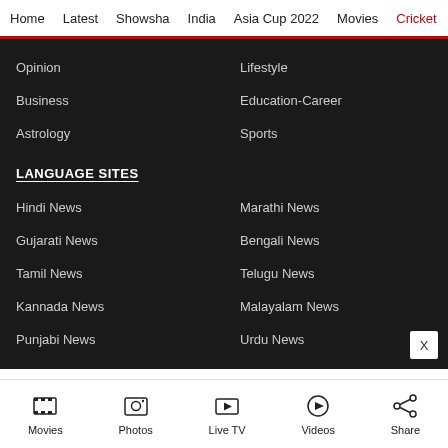Home  Latest  Showsha  India  Asia Cup 2022  Movies  Cricket
Opinion
Lifestyle
Business
Education-Career
Astrology
Sports
LANGUAGE SITES
Hindi News
Marathi News
Gujarati News
Bengali News
Tamil News
Telugu News
Kannada News
Malayalam News
Punjabi News
Urdu News
Movies  Photos  Live TV  Videos  Share